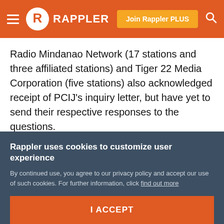Rappler — Join Rappler PLUS
Radio Mindanao Network (17 stations and three affiliated stations) and Tiger 22 Media Corporation (five stations) also acknowledged receipt of PCIJ's inquiry letter, but have yet to send their respective responses to the questions.
Missing 15 percent?
For sure, though, the non-compliance of some media outfits with the requirement for them to submit reports on the political ads they ran can complicate attempts to
Rappler uses cookies to customize user experience
By continued use, you agree to our privacy policy and accept our use of such cookies. For further information, click find out more
I ACCEPT